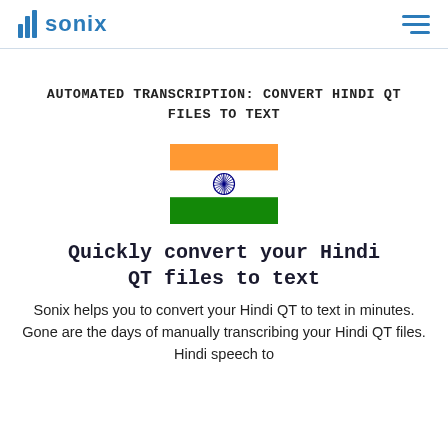sonix
AUTOMATED TRANSCRIPTION: CONVERT HINDI QT FILES TO TEXT
[Figure (illustration): Indian national flag emoji — three horizontal stripes (saffron/orange, white, green) with the Ashoka Chakra (navy blue wheel) centered on the white stripe.]
Quickly convert your Hindi QT files to text
Sonix helps you to convert your Hindi QT to text in minutes. Gone are the days of manually transcribing your Hindi QT files. Hindi speech to